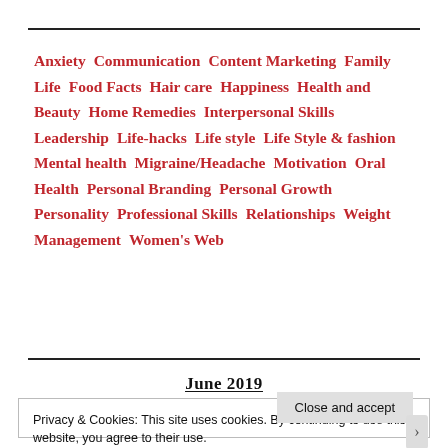Anxiety  Communication  Content Marketing  Family Life  Food Facts  Hair care  Happiness  Health and Beauty  Home Remedies  Interpersonal Skills  Leadership  Life-hacks  Life style  Life Style & fashion  Mental health  Migraine/Headache  Motivation  Oral Health  Personal Branding  Personal Growth  Personality  Professional Skills  Relationships  Weight Management  Women's Web
June 2019
Privacy & Cookies: This site uses cookies. By continuing to use this website, you agree to their use.
To find out more, including how to control cookies, see here: Cookie Policy
Close and accept